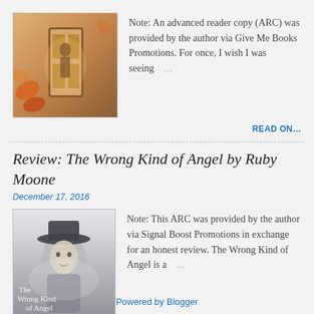[Figure (photo): Book cover image with warm orange/brown tones, appears to show figures near a door or window]
Note: An advanced reader copy (ARC) was provided by the author via Give Me Books Promotions. For once, I wish I was seeing …
READ ON…
Review: The Wrong Kind of Angel by Ruby Moone
December 17, 2016
[Figure (photo): Book cover for 'The Wrong Kind of Angel' showing a figure in a hat with misty/grey tones and cursive title text]
Note: This ARC was provided by the author via Signal Boost Promotions in exchange for an honest review. The Wrong Kind of Angel is a …
READ ON…
Powered by Blogger